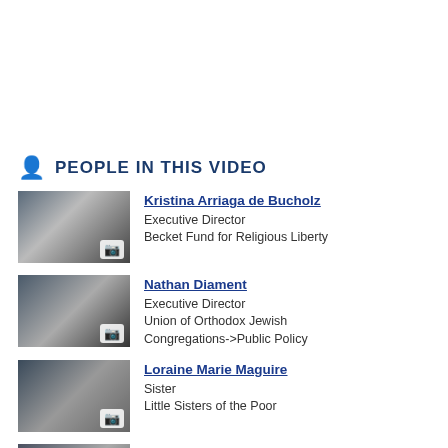PEOPLE IN THIS VIDEO
Kristina Arriaga de Bucholz
Executive Director
Becket Fund for Religious Liberty
Nathan Diament
Executive Director
Union of Orthodox Jewish Congregations->Public Policy
Loraine Marie Maguire
Sister
Little Sisters of the Poor
Frank Pavone